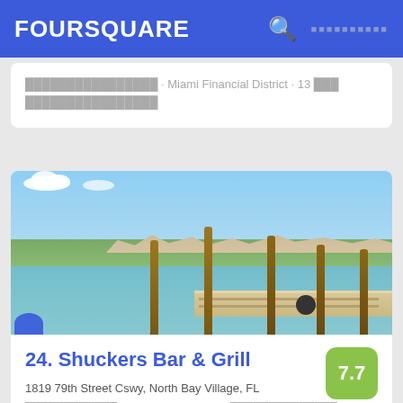FOURSQUARE
□□□□□□□□□□□□□□□□ · Miami Financial District · 13 □□□ □□□□□□□□□□□□□□□□
[Figure (photo): Outdoor waterfront scene showing a dock/pier with wooden posts extending into calm water, distant shoreline with trees and buildings under a blue sky with clouds. Photo for Shuckers Bar & Grill listing.]
24. Shuckers Bar & Grill
7.7
1819 79th Street Cswy, North Bay Village, FL
□□□□□□□□□□□□ · Treasure Island · 120 □□□□□□□□□□□□□□ □□□□□□□